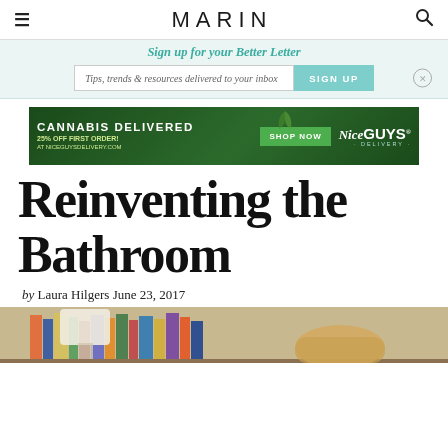MARIN
Sign up for your Better Letter
Tips, trends & resources delivered to your inbox  SIGN UP
[Figure (illustration): Advertisement banner for Nice Guys Delivery: Cannabis Delivered, 25% off first order, Shop Now at niceguysdelivery.com]
Reinventing the Bathroom
by Laura Hilgers June 23, 2017
[Figure (photo): Partial photo showing a person with blonde hair in front of a bookshelf filled with colorful books]